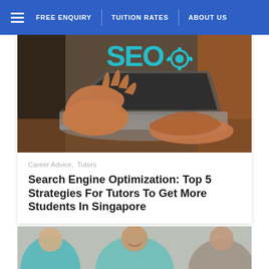FREE ENQUIRY | TUITION RATES | ABOUT US
[Figure (photo): Hands over laptop keyboard with SEO text overlay in teal/blue]
Career Advice,  Tutors
Search Engine Optimization: Top 5 Strategies For Tutors To Get More Students In Singapore
[Figure (photo): Group of smiling young people, one wearing teal shirt]